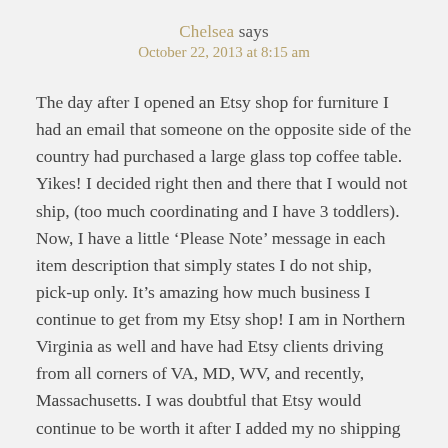Chelsea says
October 22, 2013 at 8:15 am
The day after I opened an Etsy shop for furniture I had an email that someone on the opposite side of the country had purchased a large glass top coffee table. Yikes! I decided right then and there that I would not ship, (too much coordinating and I have 3 toddlers). Now, I have a little ‘Please Note’ message in each item description that simply states I do not ship, pick-up only. It’s amazing how much business I continue to get from my Etsy shop! I am in Northern Virginia as well and have had Etsy clients driving from all corners of VA, MD, WV, and recently, Massachusetts. I was doubtful that Etsy would continue to be worth it after I added my no shipping policy, but I’ve been